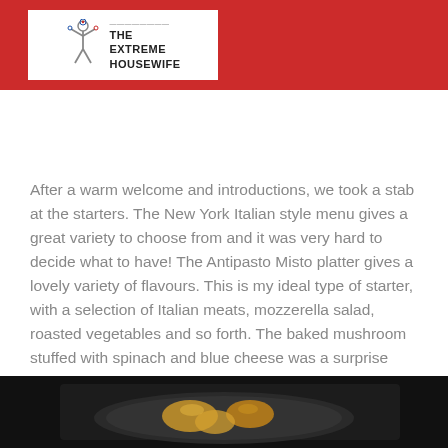[Figure (logo): The Extreme Housewife logo with icon of a figure, on white background, inside red header bar]
After a warm welcome and introductions, we took a stab at the starters. The New York Italian style menu gives a great variety to choose from and it was very hard to decide what to have! The Antipasto Misto platter gives a lovely variety of flavours. This is my ideal type of starter, with a selection of Italian meats, mozzerella salad, roasted vegetables and so forth. The baked mushroom stuffed with spinach and blue cheese was a surprise highlight for me, with its lovely gooey texture.
[Figure (photo): A dark overhead photo of a plate with food items including what appears to be roasted or baked items on a dark background]